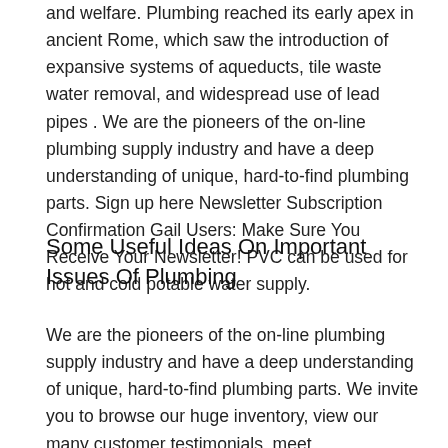and welfare. Plumbing reached its early apex in ancient Rome, which saw the introduction of expansive systems of aqueducts, tile waste water removal, and widespread use of lead pipes . We are the pioneers of the on-line plumbing supply industry and have a deep understanding of unique, hard-to-find plumbing parts. Sign up here Newsletter Subscription Confirmation Gail Users: Make Sure You Receive Your Newsletter! PVC can be used for hot and cold potable water supply.
Some Useful Ideas On Important Issues Of Plumbing
We are the pioneers of the on-line plumbing supply industry and have a deep understanding of unique, hard-to-find plumbing parts. We invite you to browse our huge inventory, view our many customer testimonials, meet